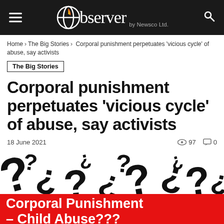Observer by Newsco Ltd.
Home › The Big Stories › Corporal punishment perpetuates 'vicious cycle' of abuse, say activists
The Big Stories
Corporal punishment perpetuates 'vicious cycle' of abuse, say activists
18 June 2021   97   0
[Figure (illustration): Black and white question marks pattern background with red banner reading 'Corporal Punishment – Child Abuse???']